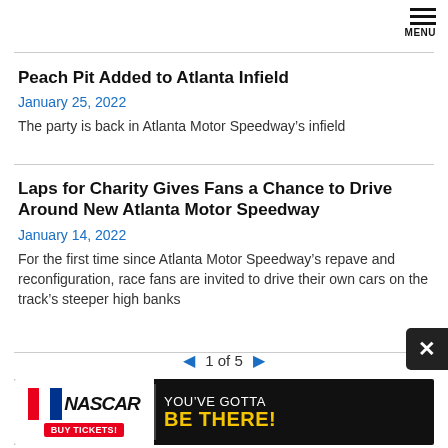MENU
Peach Pit Added to Atlanta Infield
January 25, 2022
The party is back in Atlanta Motor Speedway’s infield
Laps for Charity Gives Fans a Chance to Drive Around New Atlanta Motor Speedway
January 14, 2022
For the first time since Atlanta Motor Speedway’s repave and reconfiguration, race fans are invited to drive their own cars on the track’s steeper high banks
1 of 5
[Figure (other): NASCAR advertisement banner: NASCAR logo with BUY TICKETS button on left, text YOU'VE GOTTA BE THERE! on right with dark background]